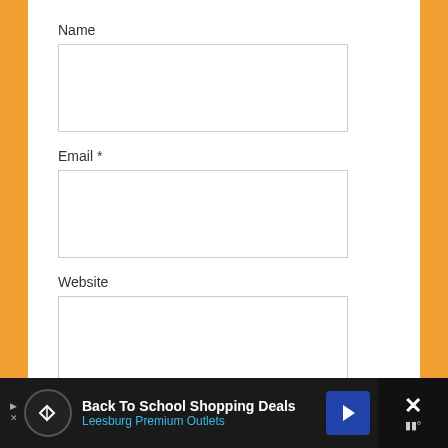Name
Email *
Website
Notify me of follow-up comments by email.
Notify me of new posts by email.
Post Comment
[Figure (screenshot): Ad banner at the bottom of the page with dark background. Contains a logo circle with arrow icon, text 'Back To School Shopping Deals' and 'Leesburg Premium Outlets' in blue, a blue diamond navigation icon, and a close button with X and thermometer icon.]